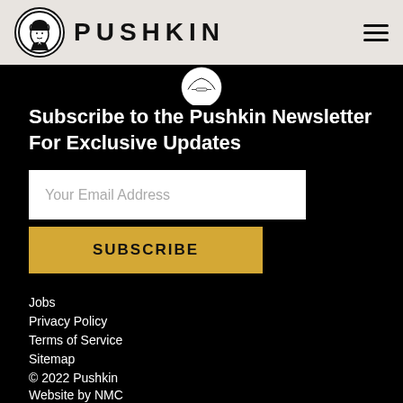PUSHKIN
Subscribe to the Pushkin Newsletter For Exclusive Updates
Your Email Address
SUBSCRIBE
Jobs
Privacy Policy
Terms of Service
Sitemap
© 2022 Pushkin
Website by NMC